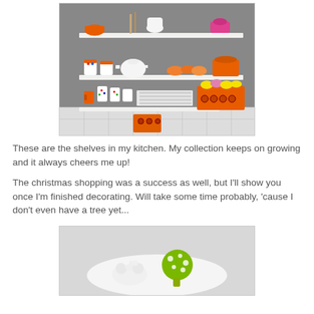[Figure (photo): Kitchen shelves with colorful dishware, mugs, bowls, plates, and retro orange containers displayed on white floating shelves against a grey wall.]
These are the shelves in my kitchen. My collection keeps on growing and it always cheers me up!
The christmas shopping was a success as well, but I'll show you once I'm finished decorating. Will take some time probably, 'cause I don't even have a tree yet...
[Figure (photo): A white plate with a small green polka-dot ornament or object and white decorative items on a light surface.]